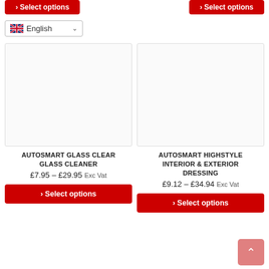[Figure (screenshot): E-commerce product listing page showing two product cards: Autosmart Glass Clear Glass Cleaner (£7.95–£29.95 Exc Vat) and Autosmart Highstyle Interior & Exterior Dressing (£9.12–£34.94 Exc Vat), each with Select options buttons. Language selector showing English/UK flag at top. Back to top button at bottom right.]